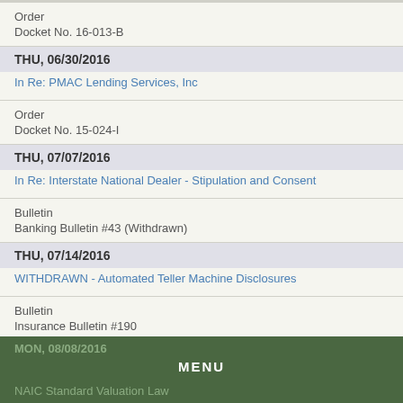Order
Docket No. 16-013-B
THU, 06/30/2016
In Re: PMAC Lending Services, Inc
Order
Docket No. 15-024-I
THU, 07/07/2016
In Re: Interstate National Dealer - Stipulation and Consent
Bulletin
Banking Bulletin #43 (Withdrawn)
THU, 07/14/2016
WITHDRAWN - Automated Teller Machine Disclosures
Bulletin
Insurance Bulletin #190
MON, 08/08/2016
MENU
NAIC Standard Valuation Law